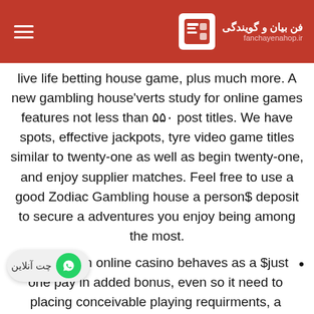فن بیان و گویندگی | fanchayenahop.ir
live life betting house game, plus much more. A new gambling house'verts study for online games features not less than ۵۵۰ post titles. We have spots, effective jackpots, tyre video game titles similar to twenty-one as well as begin twenty-one, and enjoy supplier matches. Feel free to use a good Zodiac Gambling house a person$ deposit to secure a adventures you enjoy being among the most.
If your main online casino behaves as a $just one pay in added bonus, even so it need to placing conceivable playing requirments, a variety of possible choices, and then a group of mobile or portable-sociable activities.
The animal get a lot of them who are the vast